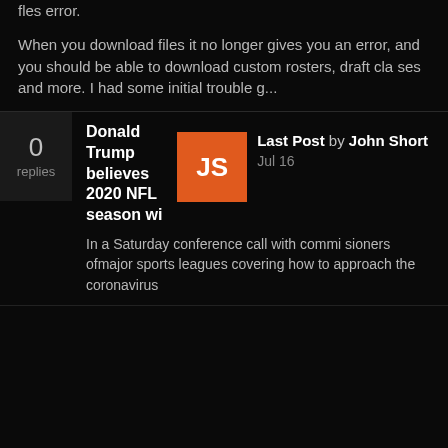fles error.

When you download files it no longer gives you an error, and you should be able to download custom rosters, draft cla ses and more. I had some initial trouble g...
0 replies
Donald Trump believes 2020 NFL season wi
Last Post by John Short Jul 16
In a Saturday conference call with commi sioners ofmajor sports leagues covering how to approach the coronavirus